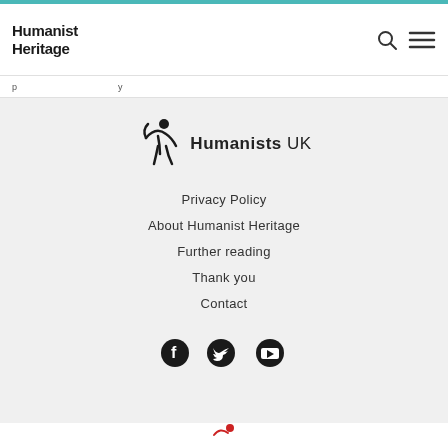Humanist Heritage
p ... y
[Figure (logo): Humanists UK logo with stylized figure and text]
Privacy Policy
About Humanist Heritage
Further reading
Thank you
Contact
[Figure (illustration): Social media icons: Facebook, Twitter, YouTube]